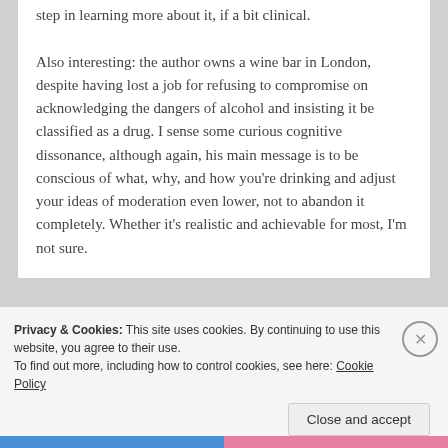step in learning more about it, if a bit clinical.

Also interesting: the author owns a wine bar in London, despite having lost a job for refusing to compromise on acknowledging the dangers of alcohol and insisting it be classified as a drug. I sense some curious cognitive dissonance, although again, his main message is to be conscious of what, why, and how you're drinking and adjust your ideas of moderation even lower, not to abandon it completely. Whether it's realistic and achievable for most, I'm not sure.
Privacy & Cookies: This site uses cookies. By continuing to use this website, you agree to their use.
To find out more, including how to control cookies, see here: Cookie Policy
Close and accept